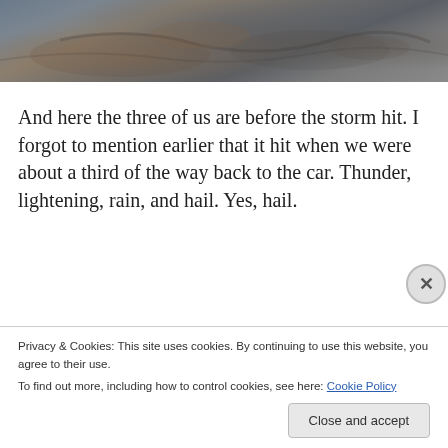[Figure (photo): A photograph of rocky terrain or ground, appears to be close-up of rocks and earth, partially cropped at top of page.]
And here the three of us are before the storm hit.  I forgot to mention earlier that it hit when we were about a third of the way back to the car.  Thunder, lightening, rain, and hail.  Yes, hail.
Privacy & Cookies: This site uses cookies. By continuing to use this website, you agree to their use.
To find out more, including how to control cookies, see here: Cookie Policy
Close and accept